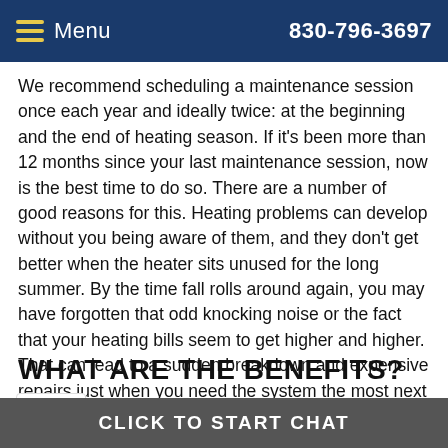Menu  830-796-3697
We recommend scheduling a maintenance session once each year and ideally twice: at the beginning and the end of heating season. If it's been more than 12 months since your last maintenance session, now is the best time to do so. There are a number of good reasons for this. Heating problems can develop without you being aware of them, and they don't get better when the heater sits unused for the long summer. By the time fall rolls around again, you may have forgotten that odd knocking noise or the fact that your heating bills seem to get higher and higher. That can lead to a sudden breakdown and expensive repairs just when you need the system the most next fall. A maintenance session conducted now can help you catch a lot of small issues before they turn into a big one.
WHAT ARE THE BENEFITS?
[Figure (logo): Chat widget icon showing a chat bubble logo in blue]
CLICK TO START CHAT